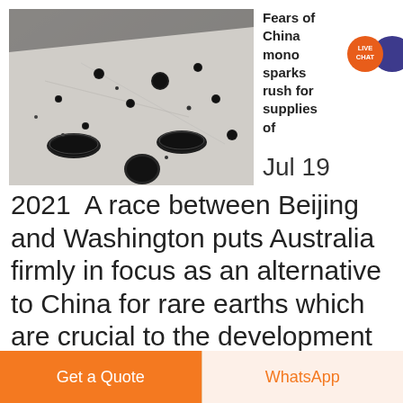[Figure (photo): Industrial metal plate with multiple drilled holes of various sizes, photographed from an angle, grey/white surface with dark holes]
Fears of China monopoly sparks rush for supplies of
Jul 19
2021  A race between Beijing and Washington puts Australia firmly in focus as an alternative to China for rare earths which are crucial to the development of essen
Get a Quote
WhatsApp